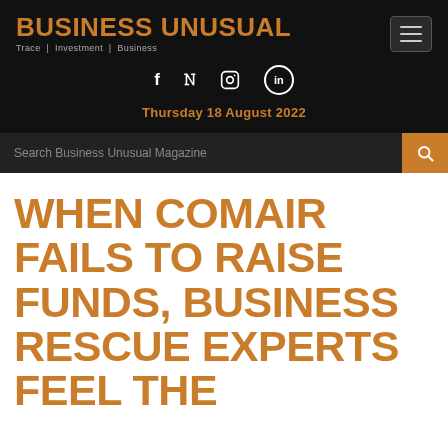BUSINESS UNUSUAL — Trace | Investment | Business
Thursday 18 August 2022
Search Business Unusual Magazine
WHEN COMAIR FAILS TO RAISE FUNDS, BUSINESS RESCUE EXPERTS FEEL THE